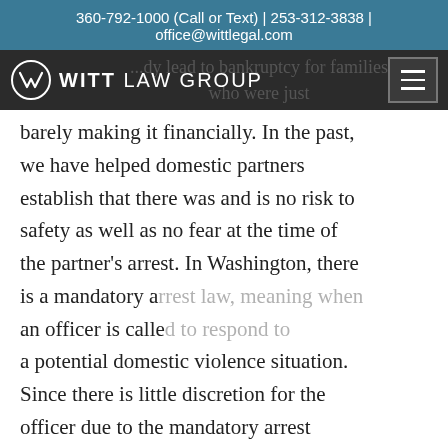360-792-1000 (Call or Text) | 253-312-3838 | office@wittlegal.com
WITT LAW GROUP
barely making it financially. In the past, we have helped domestic partners establish that there was and is no risk to safety as well as no fear at the time of the partner's arrest. In Washington, there is a mandatory a... an officer is calle... a potential domestic violence situation. Since there is little discretion for the officer due to the mandatory arrest requirement, there are frequently
[Figure (screenshot): Chat popup widget with Witt Law Group logo and text 'Chat with a live Attorney now!' with close X button, and a circular dark blue chat bubble button in bottom right corner.]